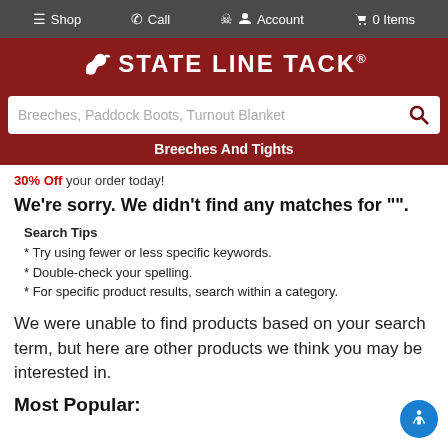Shop | Call | Account | 0 Items
STATE LINE TACK®
Breeches, Paddock Boots, Turnout Blanket
Breeches And Tights
30% Off your order today!
We're sorry. We didn't find any matches for "".
Search Tips
* Try using fewer or less specific keywords.
* Double-check your spelling.
* For specific product results, search within a category.
We were unable to find products based on your search term, but here are other products we think you may be interested in.
Most Popular: